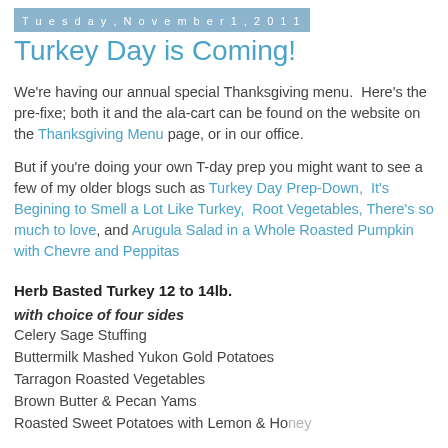Tuesday, November 1, 2011
Turkey Day is Coming!
We're having our annual special Thanksgiving menu.  Here's the pre-fixe; both it and the ala-cart can be found on the website on the Thanksgiving Menu page, or in our office.
But if you're doing your own T-day prep you might want to see a few of my older blogs such as Turkey Day Prep-Down,  It's Begining to Smell a Lot Like Turkey,  Root Vegetables, There's so much to love, and Arugula Salad in a Whole Roasted Pumpkin with Chevre and Peppitas
Herb Basted Turkey 12 to 14lb.
with choice of four sides
Celery Sage Stuffing
Buttermilk Mashed Yukon Gold Potatoes
Tarragon Roasted Vegetables
Brown Butter & Pecan Yams
Roasted Sweet Potatoes with Lemon & Honey